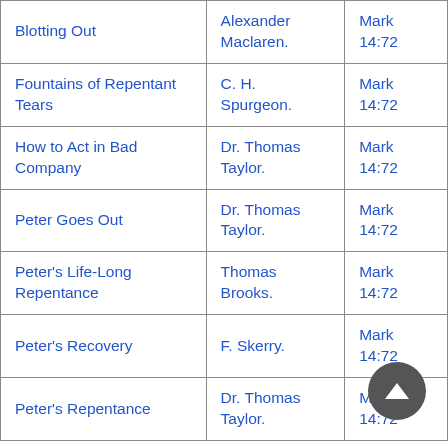| Title | Author | Reference |
| --- | --- | --- |
| Blotting Out | Alexander Maclaren. | Mark 14:72 |
| Fountains of Repentant Tears | C. H. Spurgeon. | Mark 14:72 |
| How to Act in Bad Company | Dr. Thomas Taylor. | Mark 14:72 |
| Peter Goes Out | Dr. Thomas Taylor. | Mark 14:72 |
| Peter's Life-Long Repentance | Thomas Brooks. | Mark 14:72 |
| Peter's Recovery | F. Skerry. | Mark 14:72 |
| Peter's Repentance | Dr. Thomas Taylor. | Mark 14:72 |